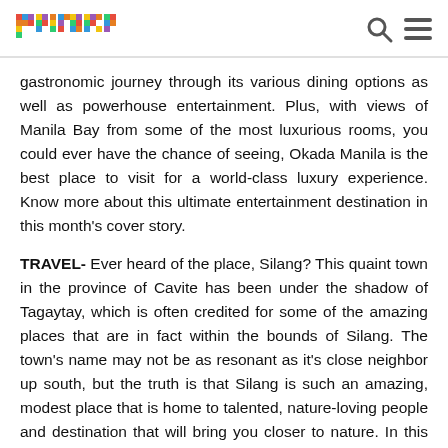primer [logo] [search icon] [menu icon]
gastronomic journey through its various dining options as well as powerhouse entertainment. Plus, with views of Manila Bay from some of the most luxurious rooms, you could ever have the chance of seeing, Okada Manila is the best place to visit for a world-class luxury experience. Know more about this ultimate entertainment destination in this month's cover story.
TRAVEL- Ever heard of the place, Silang? This quaint town in the province of Cavite has been under the shadow of Tagaytay, which is often credited for some of the amazing places that are in fact within the bounds of Silang. The town's name may not be as resonant as it's close neighbor up south, but the truth is that Silang is such an amazing, modest place that is home to talented, nature-loving people and destination that will bring you closer to nature. In this issue, we finally draw a line that distinguishes Silang from it's close and more famous